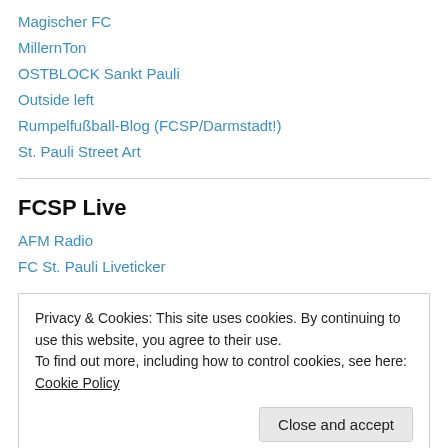Magischer FC
MillernTon
OSTBLOCK Sankt Pauli
Outside left
Rumpelfußball-Blog (FCSP/Darmstadt!)
St. Pauli Street Art
FCSP Live
AFM Radio
FC St. Pauli Liveticker
Privacy & Cookies: This site uses cookies. By continuing to use this website, you agree to their use.
To find out more, including how to control cookies, see here: Cookie Policy
Close and accept
Fanliste Sankt Pauli